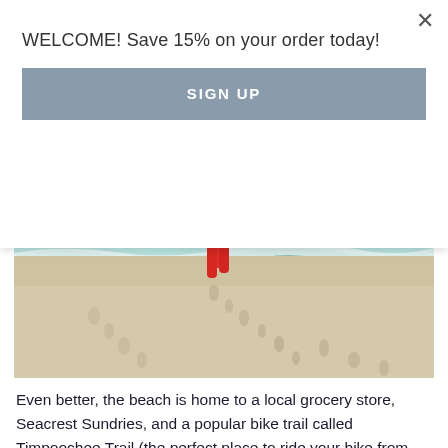WELCOME! Save 15% on your order today!
SIGN UP
[Figure (photo): A woman in red pants and white top walking along a beach shoreline with footprints in the sand and ocean waves in the background.]
Even better, the beach is home to a local grocery store, Seacrest Sundries, and a popular bike trail called Timpoochee Trail (the perfect place to ride your bike from Peddlers 30A).